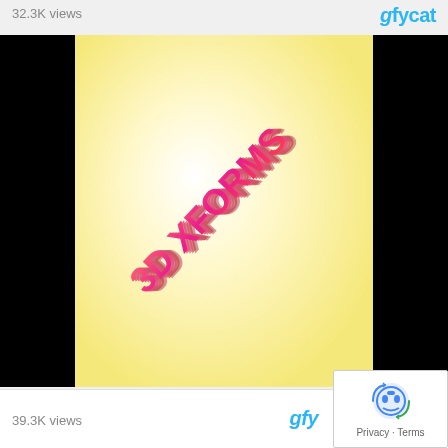32.3K views
[Figure (logo): Gfycat logo in blue]
[Figure (illustration): 3D text reading '3D XFORMS' rendered in pink/red gradient with 3D extrusion effect, diagonal orientation, on warm yellow-cream radial gradient background with black side bars]
39.3K views
[Figure (logo): Gfycat logo partially visible in blue]
[Figure (screenshot): Google reCAPTCHA privacy popup with robot icon, showing 'Privacy · Terms' text]